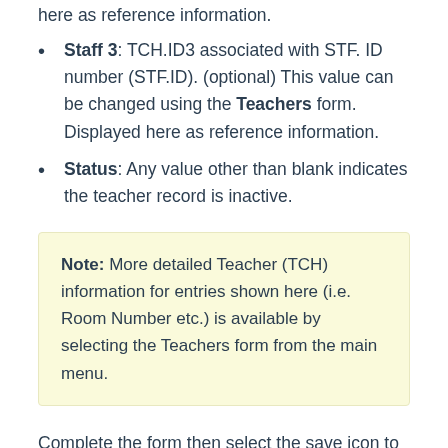Staff 3: TCH.ID3 associated with STF. ID number (STF.ID). (optional) This value can be changed using the Teachers form. Displayed here as reference information.
Status: Any value other than blank indicates the teacher record is inactive.
Note: More detailed Teacher (TCH) information for entries shown here (i.e. Room Number etc.) is available by selecting the Teachers form from the main menu.
Complete the form then select the save icon to the left of your record to save.